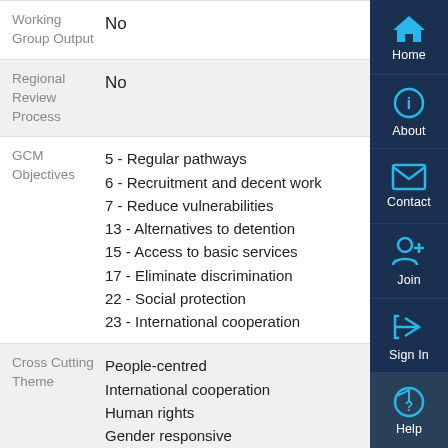| Field | Value |
| --- | --- |
| Working Group Output | No |
| Regional Review Process | No |
| GCM Objectives | 5 - Regular pathways
6 - Recruitment and decent work
7 - Reduce vulnerabilities
13 - Alternatives to detention
15 - Access to basic services
17 - Eliminate discrimination
22 - Social protection
23 - International cooperation |
| Cross Cutting Theme | People-centred
International cooperation
Human rights
Gender responsive |